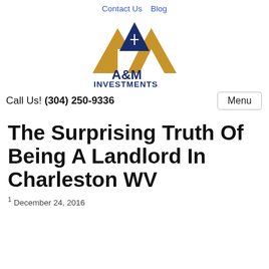Contact Us   Blog
[Figure (logo): A&M Investments logo with gold and dark blue house/mountain graphic and text 'A&M INVESTMENTS']
Call Us! (304) 250-9336
The Surprising Truth Of Being A Landlord In Charleston WV
1 December 24, 2016